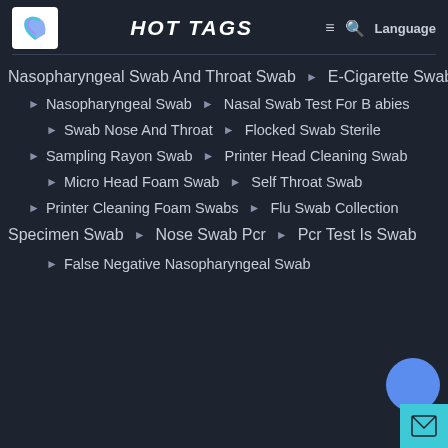HOT TAGS
Nasopharyngeal Swab And Throat Swab
E-Cigarette Swab
Nasopharyngeal Swab
Nasal Swab Test For B abies
Swab Nose And Throat
Flocked Swab Sterile
Sampling Rayon Swab
Printer Head Cleaning Swab
Micro Head Foam Swab
Self Throat Swab
Printer Cleaning Foam Swabs
Flu Swab Collection
Specimen Swab
Nose Swab Pcr
Pcr Test Is Swab
False Negative Nasopharyngeal Swab